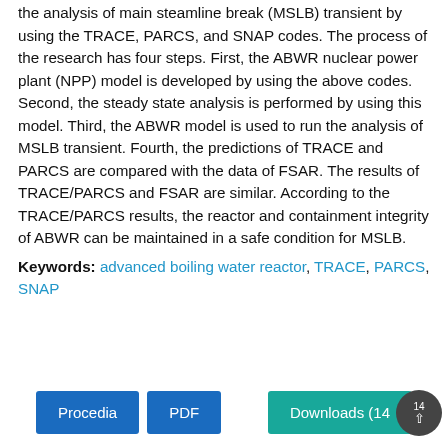the analysis of main steamline break (MSLB) transient by using the TRACE, PARCS, and SNAP codes. The process of the research has four steps. First, the ABWR nuclear power plant (NPP) model is developed by using the above codes. Second, the steady state analysis is performed by using this model. Third, the ABWR model is used to run the analysis of MSLB transient. Fourth, the predictions of TRACE and PARCS are compared with the data of FSAR. The results of TRACE/PARCS and FSAR are similar. According to the TRACE/PARCS results, the reactor and containment integrity of ABWR can be maintained in a safe condition for MSLB.
Keywords: advanced boiling water reactor, TRACE, PARCS, SNAP